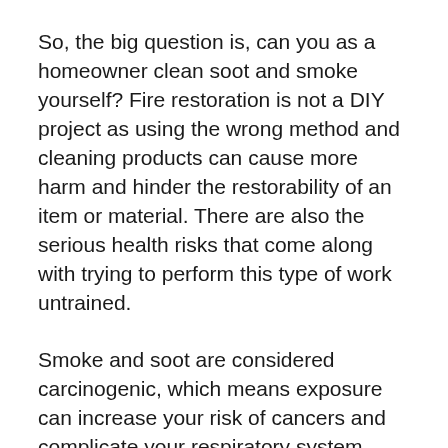So, the big question is, can you as a homeowner clean soot and smoke yourself? Fire restoration is not a DIY project as using the wrong method and cleaning products can cause more harm and hinder the restorability of an item or material. There are also the serious health risks that come along with trying to perform this type of work untrained.
Smoke and soot are considered carcinogenic, which means exposure can increase your risk of cancers and complicate your respiratory system, especially if you have asthma or another health condition. It’s best to leave this work to the professionals that have the proper personal protective equipment